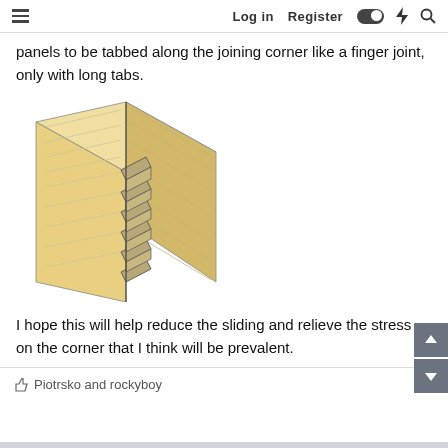Log in   Register
panels to be tabbed along the joining corner like a finger joint, only with long tabs.
[Figure (illustration): 3D illustration of a finger/box joint showing two wooden panels joined at a corner with interlocking long tabs along the joining edge.]
I hope this will help reduce the sliding and relieve the stress on the corner that I think will be prevalent.
Piotrsko and rockyboy